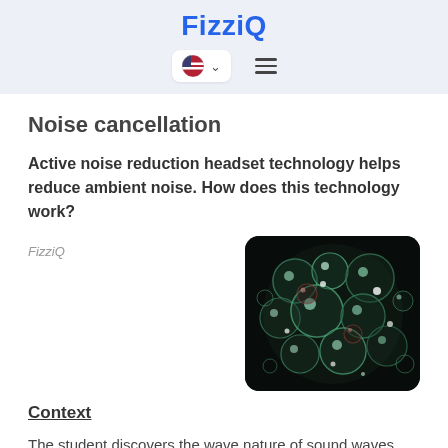FizziQ
Noise cancellation
Active noise reduction headset technology helps reduce ambient noise. How does this technology work?
FizziQ
[Figure (photo): Close-up photo of colorful bubbles on a dark background, showing reflective transparent spheres with green, red, and white highlights against black.]
Context
The student discovers the wave nature of sound waves and interference. He deduces how the noise canceling features